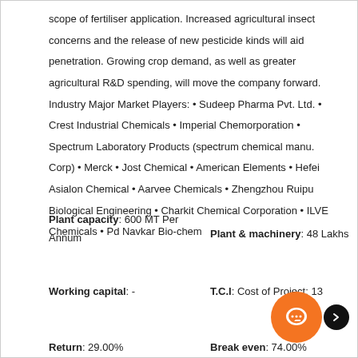scope of fertiliser application. Increased agricultural insect concerns and the release of new pesticide kinds will aid penetration. Growing crop demand, as well as greater agricultural R&D spending, will move the company forward. Industry Major Market Players: • Sudeep Pharma Pvt. Ltd. • Crest Industrial Chemicals • Imperial Chemorporation • Spectrum Laboratory Products (spectrum chemical manu. Corp) • Merck • Jost Chemical • American Elements • Hefei Asialon Chemical • Aarvee Chemicals • Zhengzhou Ruipu Biological Engineering • Charkit Chemical Corporation • ILVE Chemicals • Pd Navkar Bio-chem
Plant capacity: 600 MT Per Annum
Plant & machinery: 48 Lakhs
Working capital: -
T.C.I: Cost of Project: 13...
Return: 29.00%
Break even: 74.00%